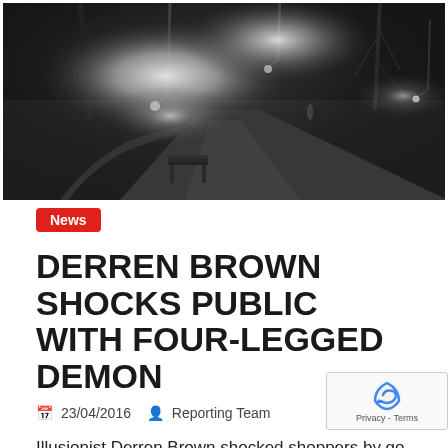[Figure (photo): Black and white foggy night scene with street lamps glowing through mist, a path, bare trees, and a lone figure in the distance. A bench is visible in the foreground.]
News
DERREN BROWN SHOCKS PUBLIC WITH FOUR-LEGGED DEMON
23/04/2016   Reporting Team
Illusionist Derren Brown shocked shoppers by go... for a stroll – with a terrifying four-legged demon.